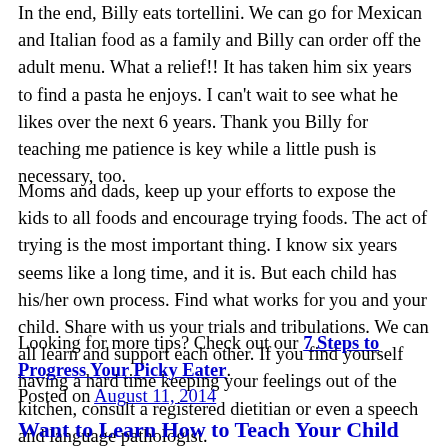In the end, Billy eats tortellini. We can go for Mexican and Italian food as a family and Billy can order off the adult menu. What a relief!! It has taken him six years to find a pasta he enjoys. I can't wait to see what he likes over the next 6 years. Thank you Billy for teaching me patience is key while a little push is necessary, too.
Moms and dads, keep up your efforts to expose the kids to all foods and encourage trying foods. The act of trying is the most important thing. I know six years seems like a long time, and it is. But each child has his/her own process. Find what works for you and your child. Share with us your trials and tribulations. We can all learn and support each other. If you find yourself having a hard time keeping your feelings out of the kitchen, consult a registered dietitian or even a speech and language pathologist.
Looking for more tips? Check out our 7 Steps to Progress Your Picky Eater.
Posted on August 11, 2014
Want to Learn How to Teach Your Child About the Love of Food?